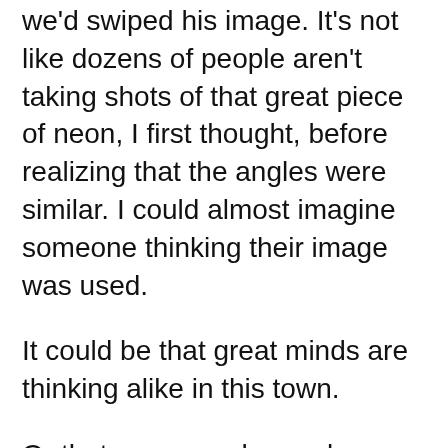we'd swiped his image. It's not like dozens of people aren't taking shots of that great piece of neon, I first thought, before realizing that the angles were similar. I could almost imagine someone thinking their image was used.
It could be that great minds are thinking alike in this town.
Or that are enough people covering some of the same ground that we're starting to develop an overlap in our efforts.
After posting this, I should check the local blogs for similar sentiments. Sure they're out there.